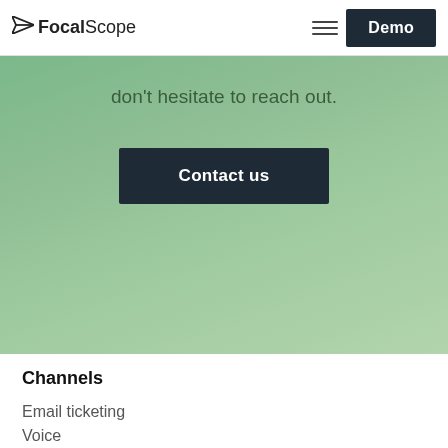FocalScope — Demo
don't hesitate to reach out.
Contact us
Channels
Email ticketing
Voice